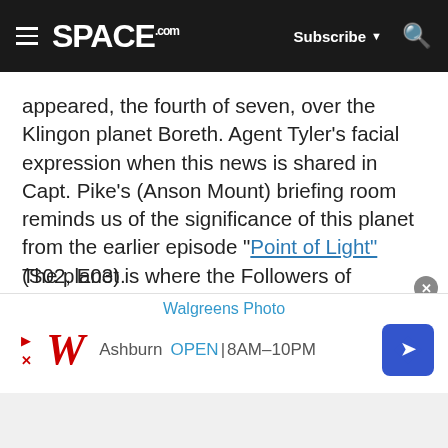SPACE.com — Subscribe — Search
appeared, the fourth of seven, over the Klingon planet Boreth. Agent Tyler's facial expression when this news is shared in Capt. Pike's (Anson Mount) briefing room reminds us of the significance of this planet from the earlier episode "Point of Light" (S02, E03).
The planet is where the Followers of Kahless established the Boreth monastery. To the Klingons, this is the most sacred location in the Empire. Worf visits the monastery to explore his Klingon heritage in the "Star Trek: The Next Generation" episode "Rightful
[Figure (screenshot): Walgreens Photo advertisement banner showing logo, Ashburn location, OPEN 8AM-10PM, and navigation diamond icon]